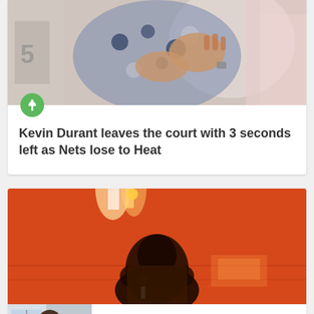[Figure (photo): Person in blue floral dress with hands raised near chest, against light background]
Kevin Durant leaves the court with 3 seconds left as Nets lose to Heat
[Figure (photo): Person bowing head holding microphone against orange/red background with stage lighting]
[Figure (photo): Person seated in chair in casual attire]
Kanye West may launch Donda tour